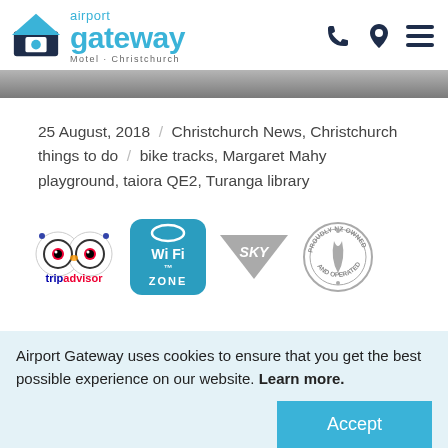[Figure (logo): Airport Gateway Motel Christchurch logo with house icon in blue and teal, with text 'airport gateway Motel · Christchurch']
[Figure (other): Phone icon, map pin icon, and hamburger menu icon in dark navy]
[Figure (photo): Gray gradient image strip, partial photo of building/sky]
25 August, 2018  /  Christchurch News, Christchurch things to do  /  bike tracks, Margaret Mahy playground, taiora QE2, Turanga library
[Figure (other): Row of four partner/feature badges: TripAdvisor owl logo, Wi-Fi Zone badge in teal, SKY TV logo in gray, Proudly NZ Owned and Operated circular stamp]
Airport Gateway uses cookies to ensure that you get the best possible experience on our website. Learn more.